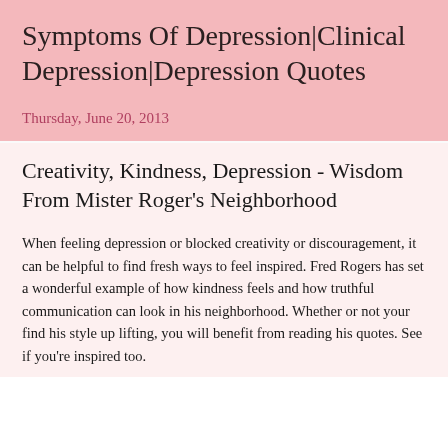Symptoms Of Depression|Clinical Depression|Depression Quotes
Thursday, June 20, 2013
Creativity, Kindness, Depression - Wisdom From Mister Roger's Neighborhood
When feeling depression or blocked creativity or discouragement, it can be helpful to find fresh ways to feel inspired. Fred Rogers has set a wonderful example of how kindness feels and how truthful communication can look in his neighborhood. Whether or not your find his style up lifting, you will benefit from reading his quotes. See if you're inspired too.